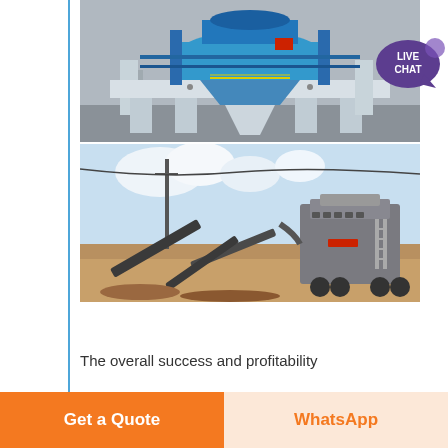[Figure (photo): Blue industrial crusher machine (sand making machine / VSI crusher) in a factory/warehouse setting, with blue metal frame, funnel top, and white base legs]
[Figure (photo): Mobile crusher plant / aggregate processing plant with conveyors, jaw crusher, and other equipment outdoors on a dirt surface under a partly cloudy sky]
[Figure (other): Live chat button — purple speech bubble icon with text LIVE CHAT]
The overall success and profitability